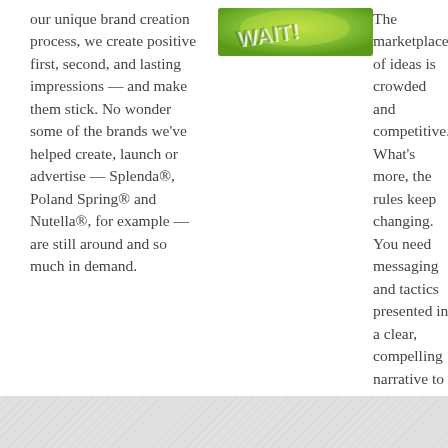our unique brand creation process, we create positive first, second, and lasting impressions — and make them stick. No wonder some of the brands we've helped create, launch or advertise — Splenda®, Poland Spring® and Nutella®, for example — are still around and so much in demand.
[Figure (photo): Green and yellow product image with stylized text 'WAIT!' on a lime/citrus background]
The marketplace of ideas is crowded and competitive. What's more, the rules keep changing. You need messaging and tactics presented in a clear, compelling narrative to shape the terms of public debate. We'll get your story told through the most resonant message and targeted tactics.